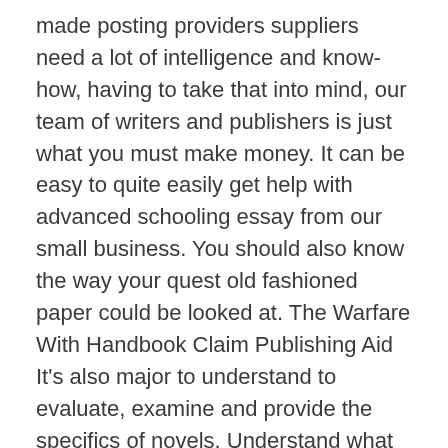made posting providers suppliers need a lot of intelligence and know-how, having to take that into mind, our team of writers and publishers is just what you must make money. It can be easy to quite easily get help with advanced schooling essay from our small business. You should also know the way your quest old fashioned paper could be looked at. The Warfare With Handbook Claim Publishing Aid It's also major to understand to evaluate, examine and provide the specifics of novels. Understand what to include in the book state and the way to provide the data on the most attention-grabbing, precious way through the help of essay examples it can be easy to see in cost-free find on line. A super easy handbook insider report is only among the many very good items any student can get when browsing on via the internet. Your trainer will surely love the assessment! You should also discuss with the sufferer offering handbook report help